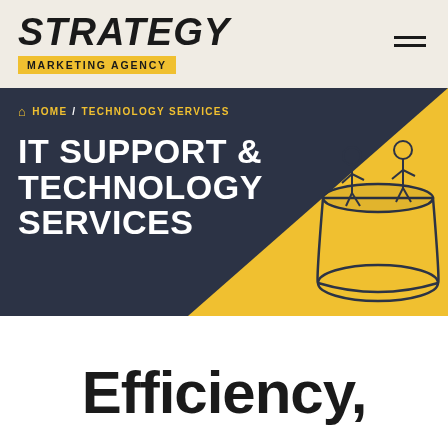STRATEGY
MARKETING AGENCY
[Figure (screenshot): Hamburger menu icon (three horizontal lines)]
HOME / TECHNOLOGY SERVICES
IT SUPPORT & TECHNOLOGY SERVICES
[Figure (illustration): Yellow and dark navy hero banner with an illustration of two people sitting on a large cup, rendered in a retro line-art style]
Efficiency,